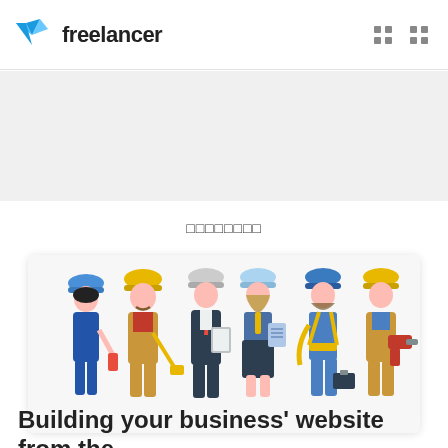freelancer
□□□□□□□□
[Figure (illustration): Six construction workers and professionals in hard hats standing in a row, including men and women holding tools such as a paint roller, measuring tape, tablet, blueprints, a rope/hose, toolbox and drill.]
Building your business' website from the ground up